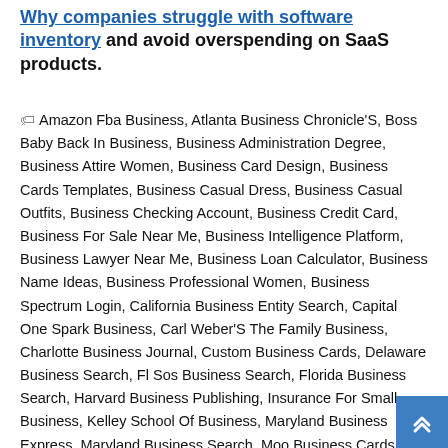Why companies struggle with software inventory and avoid overspending on SaaS products.
Amazon Fba Business, Atlanta Business Chronicle'S, Boss Baby Back In Business, Business Administration Degree, Business Attire Women, Business Card Design, Business Cards Templates, Business Casual Dress, Business Casual Outfits, Business Checking Account, Business Credit Card, Business For Sale Near Me, Business Intelligence Platform, Business Lawyer Near Me, Business Loan Calculator, Business Name Ideas, Business Professional Women, Business Spectrum Login, California Business Entity Search, Capital One Spark Business, Carl Weber'S The Family Business, Charlotte Business Journal, Custom Business Cards, Delaware Business Search, Fl Sos Business Search, Florida Business Search, Harvard Business Publishing, Insurance For Small Business, Kelley School Of Business, Maryland Business Express, Maryland Business Search, Moo Business Cards, National Business Furniture, New York Business Search, Ohio Business Gateway, Onedrive For Business, Online Business Ideas, Paramore Misery Business, Risky Business Cast, Small Business Insurance, Spectrum Business Customer Service, Tom Cruise Risky Business, Us Small Business Administration, Verizon Wireless Business, Verizon Wireless Business Login, Virtual